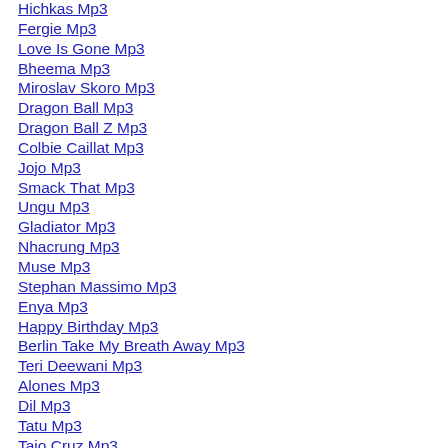Hichkas Mp3
Fergie Mp3
Love Is Gone Mp3
Bheema Mp3
Miroslav Skoro Mp3
Dragon Ball Mp3
Dragon Ball Z Mp3
Colbie Caillat Mp3
Jojo Mp3
Smack That Mp3
Ungu Mp3
Gladiator Mp3
Nhacrung Mp3
Muse Mp3
Stephan Massimo Mp3
Enya Mp3
Happy Birthday Mp3
Berlin Take My Breath Away Mp3
Teri Deewani Mp3
Alones Mp3
Dil Mp3
Tatu Mp3
Taio Cruz Mp3
Roxette Mp3
Soldiers Of Allah Mp3